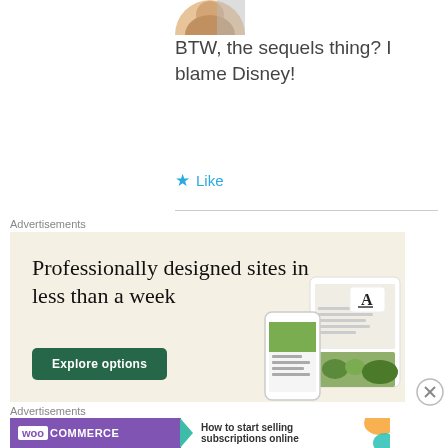[Figure (photo): Partial avatar/profile photo at top center]
BTW, the sequels thing? I blame Disney!
★ Like
Advertisements
[Figure (other): Advertisement banner: Professionally designed sites in less than a week. Explore options button. Squarespace ad with device mockups.]
Advertisements
[Figure (other): WooCommerce advertisement: How to start selling subscriptions online]